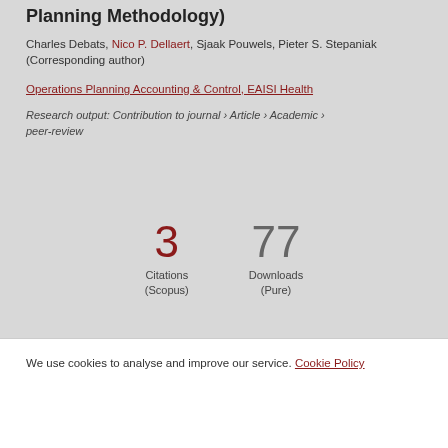Planning Methodology
Charles Debats, Nico P. Dellaert, Sjaak Pouwels, Pieter S. Stepaniak (Corresponding author)
Operations Planning Accounting & Control, EAISI Health
Research output: Contribution to journal › Article › Academic › peer-review
3 Citations (Scopus)
77 Downloads (Pure)
We use cookies to analyse and improve our service. Cookie Policy